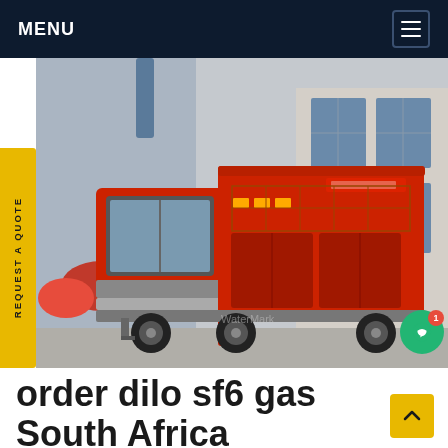MENU
[Figure (photo): A large red and grey SF6 gas service vehicle/cart on wheels, parked in an industrial yard. Red cylindrical gas tanks visible in background, brick building with windows behind.]
order dilo sf6 gas South Africa